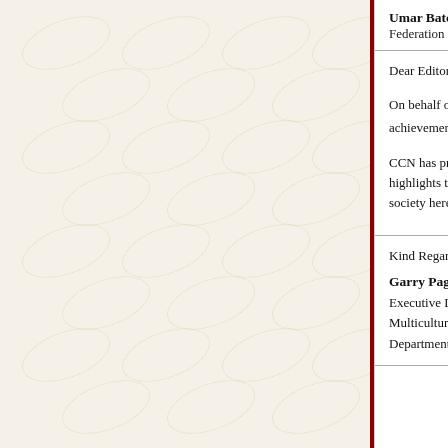Umar Batchelor
Federation of Australian Muslim Students and Youth (FA...
Dear Editor

On behalf of Multicultural Affairs Queensland, I would like the opportunity to congratulate CCN on the wonderful achievement of reaching the 250th edition.

CCN has proved to be both very informative and interesting. The diversity of issues and events covered which also highlights the contribution that Queensland's Muslim community has made to the social and cultural fabric of our society here in Queensland.

Kind Regards
Garry Page
Executive Director
Multicultural Affairs Queensland
Department of Communities